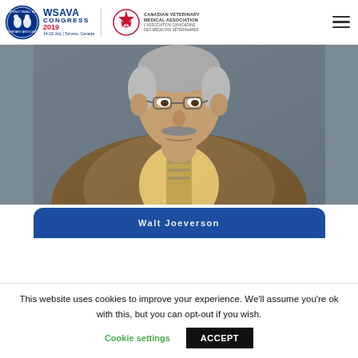WSAVA Congress 2019 | Canadian Veterinary Medical Association / L'association Canadienne des Médecins Vétérinaires
[Figure (photo): Close-up portrait photo of a middle-aged man with grey hair and a moustache wearing a brown blazer, yellow shirt, and striped tie, looking upward slightly]
Walt Joeverson
This website uses cookies to improve your experience. We'll assume you're ok with this, but you can opt-out if you wish.
Cookie settings    ACCEPT